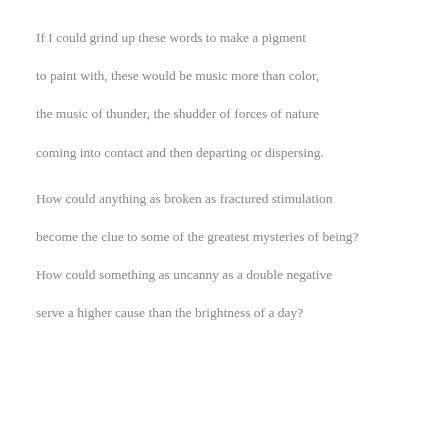If I could grind up these words to make a pigment
to paint with, these would be music more than color,
the music of thunder, the shudder of forces of nature
coming into contact and then departing or dispersing.
How could anything as broken as fractured stimulation
become the clue to some of the greatest mysteries of being?
How could something as uncanny as a double negative
serve a higher cause than the brightness of a day?